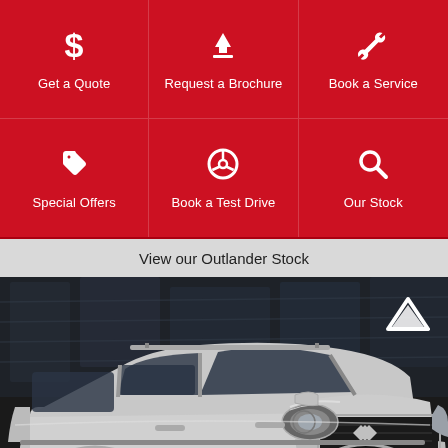[Figure (infographic): 3x2 red grid of action buttons: Get a Quote (dollar icon), Request a Brochure (download icon), Book a Service (wrench icon), Special Offers (tag icon), Book a Test Drive (steering wheel icon), Our Stock (search icon)]
View our Outlander Stock
[Figure (photo): Mitsubishi Outlander SUV in silver/white parked facing front-right, dark urban background with glass building. Mitsubishi Motors license plate visible. White chevron/arrow up icon in top-right corner.]